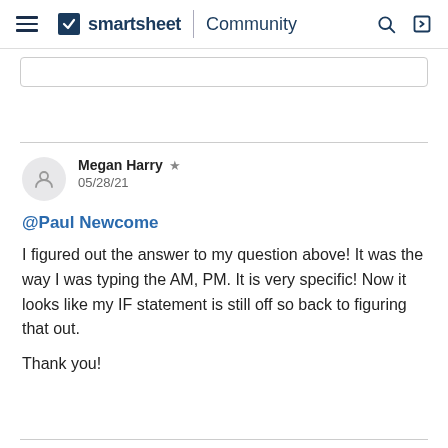smartsheet | Community
Megan Harry  ★
05/28/21
@Paul Newcome
I figured out the answer to my question above! It was the way I was typing the AM, PM. It is very specific! Now it looks like my IF statement is still off so back to figuring that out.
Thank you!